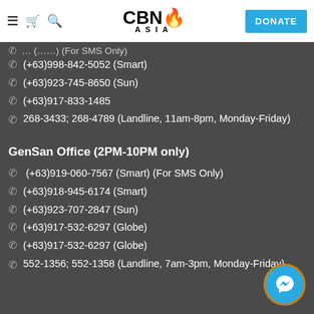CBN Asia — Navigation header with DONATE button
(+63)998-842-5052 (Smart)
(+63)923-745-8650 (Sun)
(+63)917-833-1485
268-3433; 268-4789 (Landline, 11am-8pm, Monday-Friday)
GenSan Office (2PM-10PM only)
(+63)919-060-7567 (Smart) (For SMS Only)
(+63)918-945-6174 (Smart)
(+63)923-707-2847 (Sun)
(+63)917-532-6297 (Globe)
(+63)917-532-6297 (Globe)
552-1356; 552-1358 (Landline, 7am-3pm, Monday-Friday)